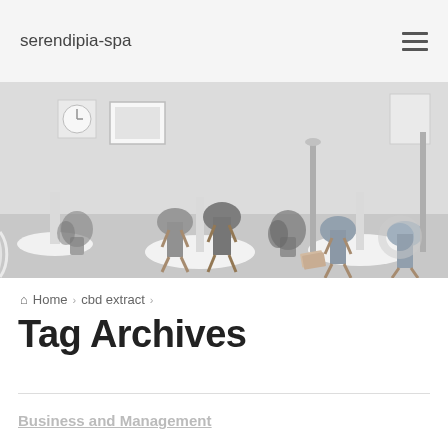serendipia-spa
[Figure (photo): Interior of a modern cafe or office space with round white tables, Eames-style chairs in grey and wood, potted plants, framed artwork on walls, and bright lighting.]
Home > cbd extract >
Tag Archives
Business and Management